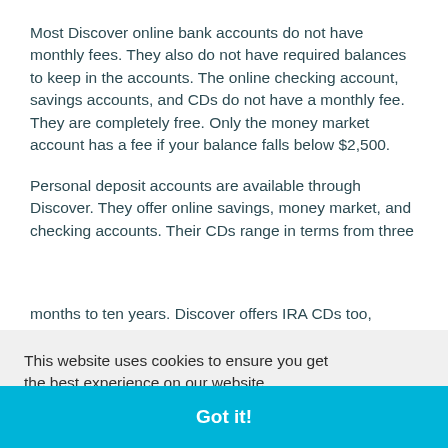Most Discover online bank accounts do not have monthly fees. They also do not have required balances to keep in the accounts. The online checking account, savings accounts, and CDs do not have a monthly fee. They are completely free. Only the money market account has a fee if your balance falls below $2,500.
Personal deposit accounts are available through Discover. They offer online savings, money market, and checking accounts. Their CDs range in terms from three months to ten years. Discover offers IRA CDs too, as well as...
This website uses cookies to ensure you get the best experience on our website.
Learn more
Got it!